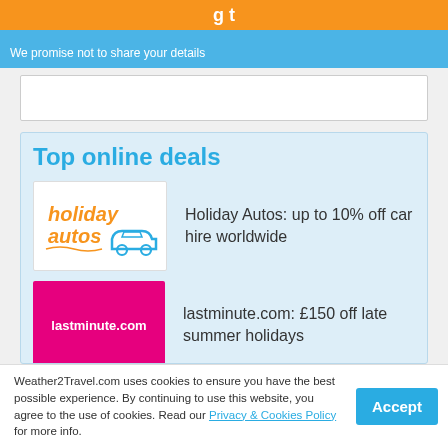[Figure (screenshot): Orange button partial at top of blue header bar]
We promise not to share your details
[Figure (other): White input field row]
Top online deals
[Figure (logo): Holiday Autos logo - orange text with teal car outline on white background]
Holiday Autos: up to 10% off car hire worldwide
[Figure (logo): lastminute.com logo - white text on magenta/pink background]
lastminute.com: £150 off late summer holidays
[Figure (logo): Saga Holidays logo - partial teal background]
Saga Holidays sale: up to £350pp off
Weather2Travel.com uses cookies to ensure you have the best possible experience. By continuing to use this website, you agree to the use of cookies. Read our Privacy & Cookies Policy for more info.